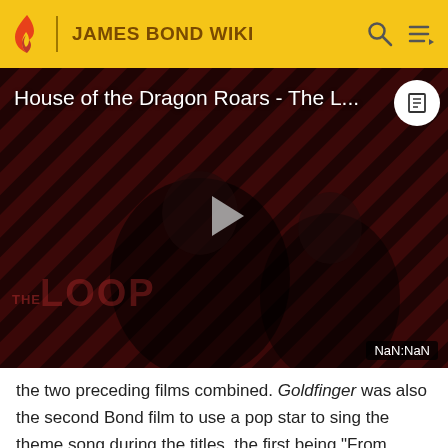JAMES BOND WIKI
[Figure (screenshot): Video player thumbnail showing 'House of the Dragon Roars - The L...' with a play button in the center and 'THE LOOP' watermark. NaN:NaN displayed in bottom right corner.]
the two preceding films combined. Goldfinger was also the second Bond film to use a pop star to sing the theme song during the titles, the first being "From Russia With Love, sung by British pop star Matt Monro. Every other Bond film would include a pop star song, except On Her Majesty's Secret Service. This is also the last Bond film...